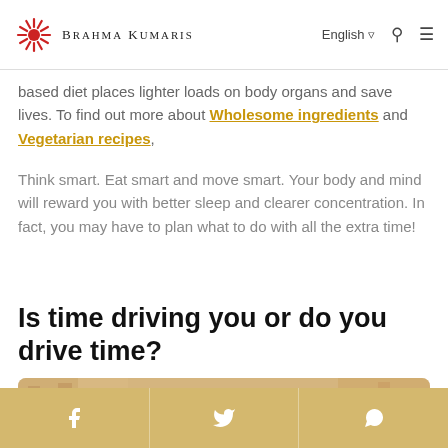Brahma Kumaris — English navigation bar
based diet places lighter loads on body organs and save lives. To find out more about Wholesome ingredients and Vegetarian recipes,
Think smart. Eat smart and move smart. Your body and mind will reward you with better sleep and clearer concentration. In fact, you may have to plan what to do with all the extra time!
Is time driving you or do you drive time?
[Figure (photo): Person holding a small green plant/leaf up to their face, blurred building background in warm tones]
Social share icons: Facebook, Twitter, WhatsApp